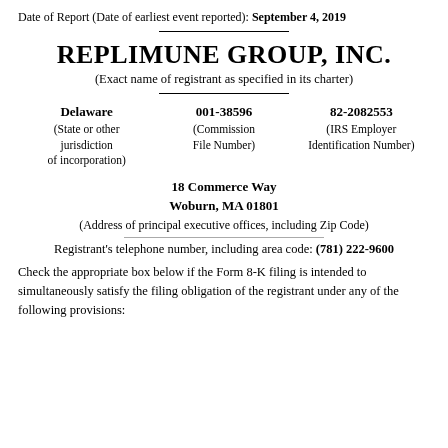Date of Report (Date of earliest event reported): September 4, 2019
REPLIMUNE GROUP, INC.
(Exact name of registrant as specified in its charter)
| Delaware | 001-38596 | 82-2082553 |
| (State or other jurisdiction of incorporation) | (Commission File Number) | (IRS Employer Identification Number) |
18 Commerce Way
Woburn, MA 01801
(Address of principal executive offices, including Zip Code)
Registrant's telephone number, including area code: (781) 222-9600
Check the appropriate box below if the Form 8-K filing is intended to simultaneously satisfy the filing obligation of the registrant under any of the following provisions: